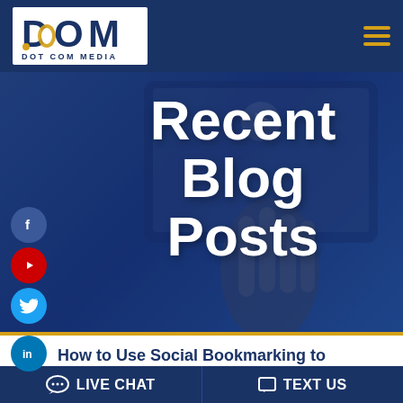DOT COM MEDIA
[Figure (photo): Hero image showing a hand touching a tablet screen, overlaid with blue tint and large white bold text 'Recent Blog Posts']
Recent Blog Posts
How to Use Social Bookmarking to
LIVE CHAT   TEXT US